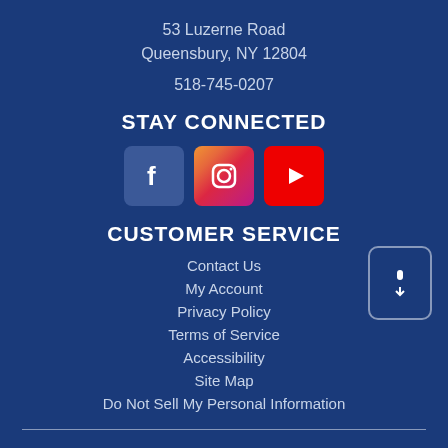53 Luzerne Road
Queensbury, NY 12804
518-745-0207
STAY CONNECTED
[Figure (other): Social media icons for Facebook, Instagram, and YouTube]
CUSTOMER SERVICE
Contact Us
My Account
Privacy Policy
Terms of Service
Accessibility
Site Map
Do Not Sell My Personal Information
Welcome to our website! As we have the ability to list over one million items on our website (our selection changes all of the time), it is not feasible for a